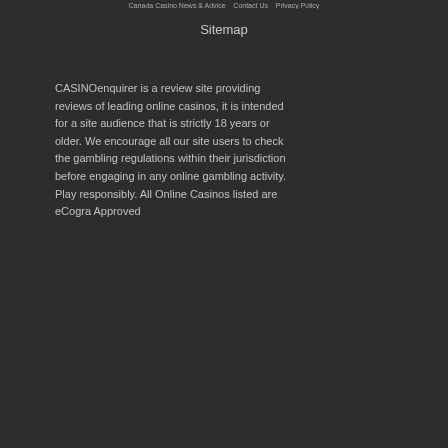Canada Casino News & Advice   Contact Us   Privacy Policy
Sitemap
CASINOenquirer is a review site providing reviews of leading online casinos, it is intended for a site audience that is strictly 18 years or older. We encourage all our site users to check the gambling regulations within their jurisdiction before engaging in any online gambling activity. Play responsibly. All Online Casinos listed are eCogra Approved